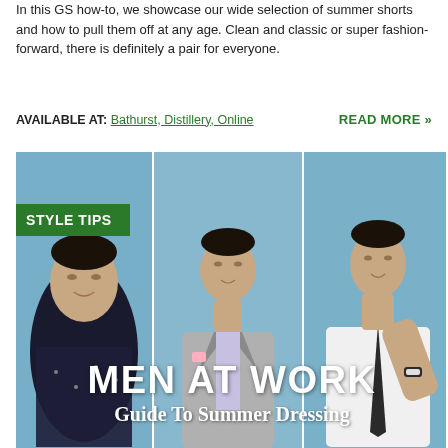In this GS how-to, we showcase our wide selection of summer shorts and how to pull them off at any age. Clean and classic or super fashion-forward, there is definitely a pair for everyone.
AVAILABLE AT: Bathurst, Distillery, Online    READ MORE »
[Figure (photo): Three men posing in smart casual/workwear against a blue background. Left: man in floral/dark pattern shirt. Center: man in grey suit with checked shirt and pocket square. Right: man in white short-sleeve shirt with dark tie and watch. Green 'STYLE TIPS' banner overlaid top-left. Large white text overlay reads 'MEN AT WORK / Guide To Summer Dressing' at bottom.]